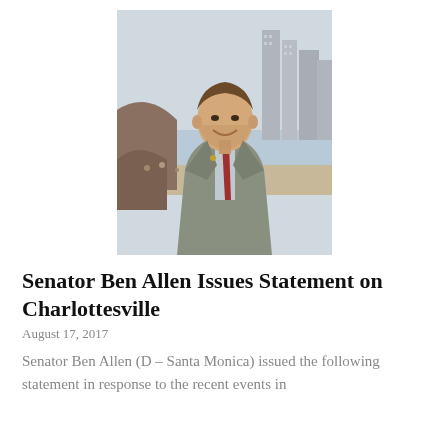[Figure (photo): Portrait photograph of Senator Ben Allen, a man in a grey suit with a red tie, smiling, with a beach and cityscape in the background.]
Senator Ben Allen Issues Statement on Charlottesville
August 17, 2017
Senator Ben Allen (D – Santa Monica) issued the following statement in response to the recent events in